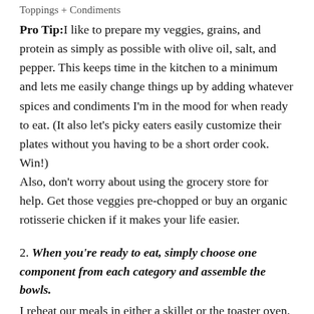Toppings + Condiments
Pro Tip: I like to prepare my veggies, grains, and protein as simply as possible with olive oil, salt, and pepper. This keeps time in the kitchen to a minimum and lets me easily change things up by adding whatever spices and condiments I'm in the mood for when ready to eat. (It also let's picky eaters easily customize their plates without you having to be a short order cook. Win!)
Also, don't worry about using the grocery store for help. Get those veggies pre-chopped or buy an organic rotisserie chicken if it makes your life easier.
2. When you're ready to eat, simply choose one component from each category and assemble the bowls.
I reheat our meals in either a skillet or the toaster oven,